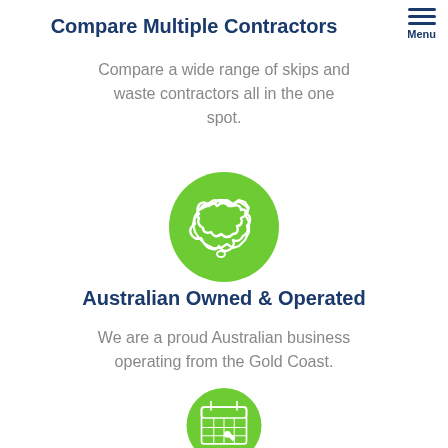Compare Multiple Contractors
Compare a wide range of skips and waste contractors all in the one spot.
[Figure (illustration): Green circular icon with white outline of the map of Australia]
Australian Owned & Operated
We are a proud Australian business operating from the Gold Coast.
[Figure (illustration): Green circular icon with white calendar/clock illustration, partially visible at bottom of page]